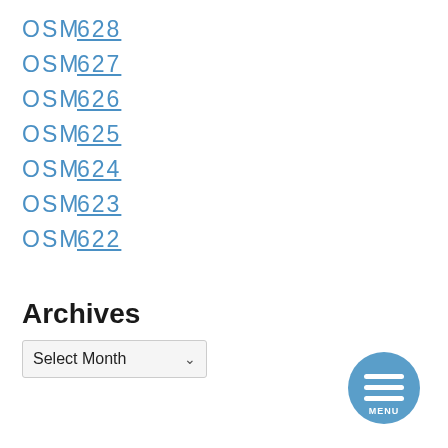OSM 628
OSM 627
OSM 626
OSM 625
OSM 624
OSM 623
OSM 622
Archives
Select Month
[Figure (other): Circular blue menu button with three horizontal white lines and the text MENU below them]